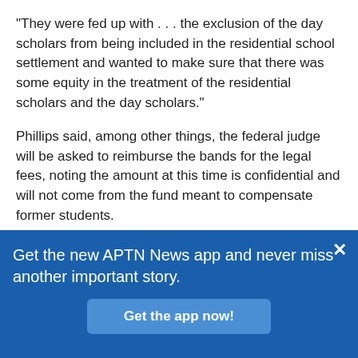“They were fed up with … the exclusion of the day scholars from being included in the residential school settlement and wanted to make sure that there was some equity in the treatment of the residential scholars and the day scholars.”
Phillips said, among other things, the federal judge will be asked to reimburse the bands for the legal fees, noting the amount at this time is confidential and will not come from the fund meant to compensate former students.
What has been made public so far is the request for a $10,000 individual payment for each former day scholar that matches the amount of the IRSSA
Get the new APTN News app and never miss another important story.
Get the app now!